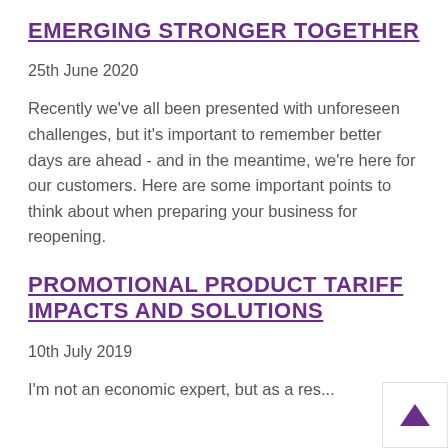EMERGING STRONGER TOGETHER
25th June 2020
Recently we've all been presented with unforeseen challenges, but it's important to remember better days are ahead - and in the meantime, we're here for our customers. Here are some important points to think about when preparing your business for reopening.
PROMOTIONAL PRODUCT TARIFF IMPACTS AND SOLUTIONS
10th July 2019
I'm not an economic expert, but as a res...